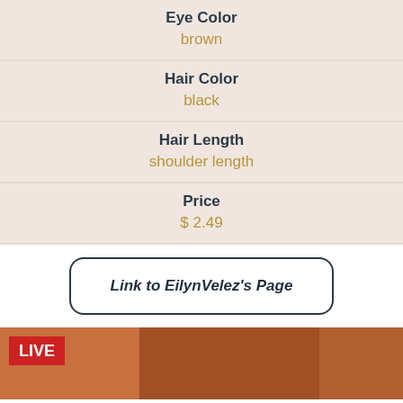Eye Color
brown
Hair Color
black
Hair Length
shoulder length
Price
$ 2.49
Link to EilynVelez's Page
[Figure (photo): Live stream thumbnail showing a person with dark hair against an orange background, with a red LIVE badge in the top-left corner.]